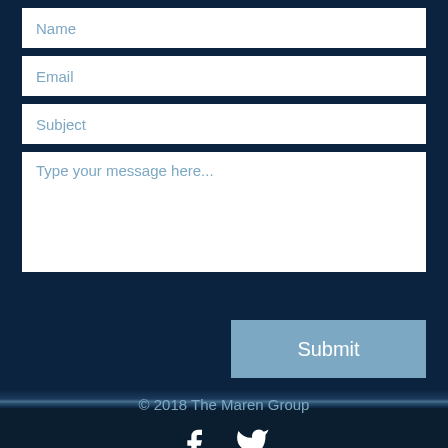[Figure (screenshot): Contact form with Name, Email, Subject, and message fields, and a Submit button]
© 2018 The Maren Group